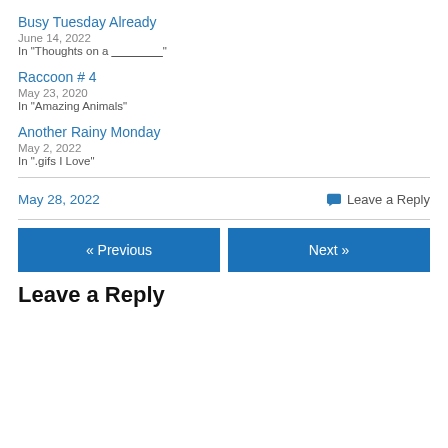Busy Tuesday Already
June 14, 2022
In "Thoughts on a ________"
Raccoon # 4
May 23, 2020
In "Amazing Animals"
Another Rainy Monday
May 2, 2022
In ".gifs I Love"
May 28, 2022
Leave a Reply
« Previous
Next »
Leave a Reply